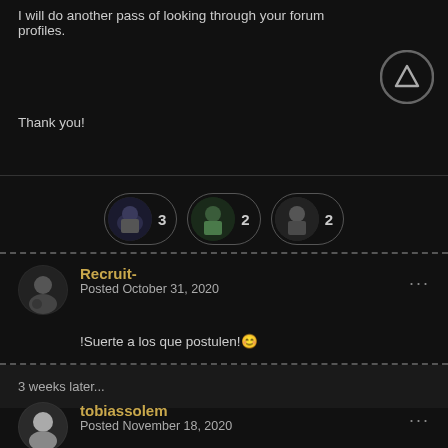I will do another pass of looking through your forum profiles.
Thank you!
[Figure (other): Three reaction/emoji pills showing avatars with counts: 3, 2, 2]
Recruit-
Posted October 31, 2020
!Suerte a los que postulen!😊
3 weeks later...
tobiassolem
Posted November 18, 2020